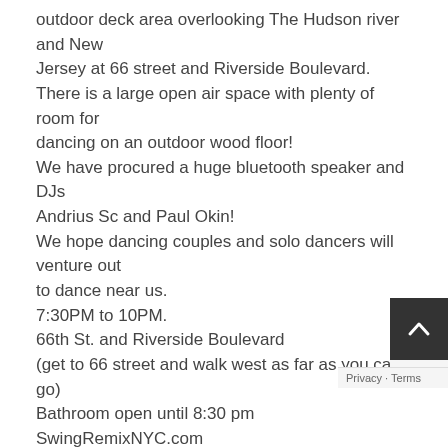outdoor deck area overlooking The Hudson river and New Jersey at 66 street and Riverside Boulevard.
There is a large open air space with plenty of room for dancing on an outdoor wood floor!
We have procured a huge bluetooth speaker and DJs Andrius Sc and Paul Okin!
We hope dancing couples and solo dancers will venture out to dance near us.
7:30PM to 10PM.
66th St. and Riverside Boulevard
(get to 66 street and walk west as far as you can go)
Bathroom open until 8:30 pm
SwingRemixNYC.com
Monday, November 28
Back Room Speakeasy Sessions
Back Room 102 Norfolk St.